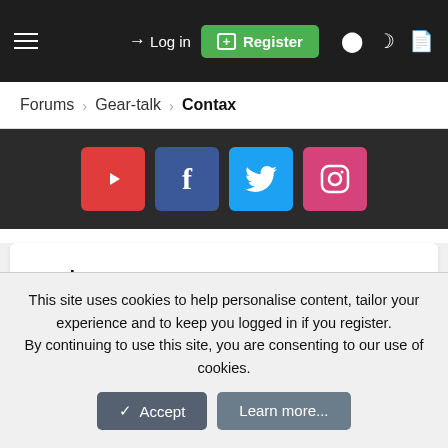Log in | Register
Forums › Gear-talk › Contax
[Figure (other): Social media buttons: YouTube, Facebook, Twitter, Instagram]
Zeiss vs. Topcor
pstake · Feb 24, 2012
pstake
New Member
This site uses cookies to help personalise content, tailor your experience and to keep you logged in if you register.
By continuing to use this site, you are consenting to our use of cookies.
Accept | Learn more...